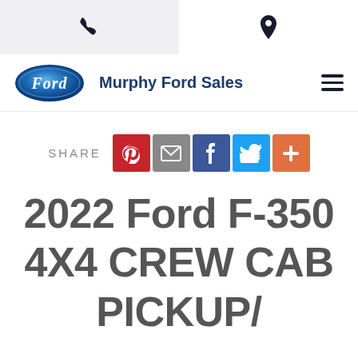Phone | Location
[Figure (logo): Ford oval blue logo with 'Ford' script in white]
Murphy Ford Sales
SHARE
2022 Ford F-350 4X4 CREW CAB PICKUP/